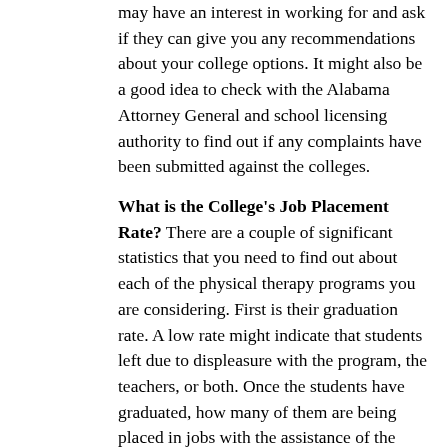may have an interest in working for and ask if they can give you any recommendations about your college options. It might also be a good idea to check with the Alabama Attorney General and school licensing authority to find out if any complaints have been submitted against the colleges.
What is the College's Job Placement Rate? There are a couple of significant statistics that you need to find out about each of the physical therapy programs you are considering. First is their graduation rate. A low rate might indicate that students left due to displeasure with the program, the teachers, or both. Once the students have graduated, how many of them are being placed in jobs with the assistance of the college's job placement program, particularly in the Athens AL area? If a program has a high job placement rate, it's an indication that its reputation within the medical care field is good or perhaps outstanding. It also confirms that the program